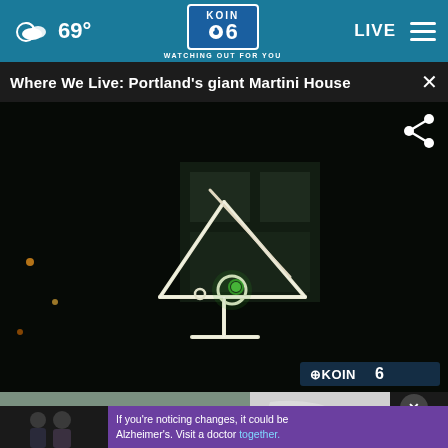69° KOIN 6 CBS WATCHING OUT FOR YOU LIVE
Where We Live: Portland's giant Martini House
[Figure (screenshot): Dark nighttime photo of a large illuminated neon martini glass sign on the exterior of a building, with KOIN 6 watermark in bottom right corner]
[Figure (photo): Bottom strip showing a beach/coastal scene on the left, a map graphic on the right with a dark close/X button, and a purple advertisement bar overlay reading 'If you're noticing changes, it could be Alzheimer's. Visit a doctor together.']